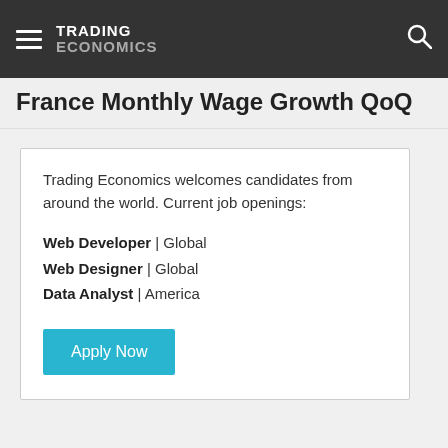TRADING ECONOMICS
France Monthly Wage Growth QoQ
Trading Economics welcomes candidates from around the world. Current job openings:
Web Developer | Global
Web Designer | Global
Data Analyst | America
Apply Now